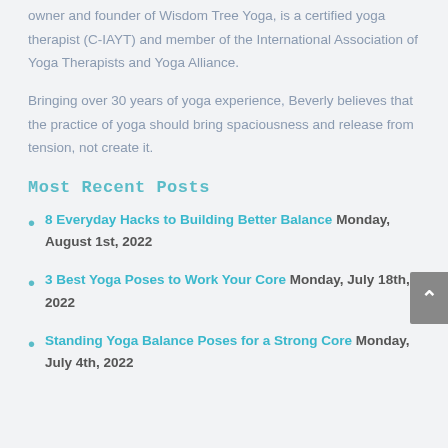owner and founder of Wisdom Tree Yoga, is a certified yoga therapist (C-IAYT) and member of the International Association of Yoga Therapists and Yoga Alliance.
Bringing over 30 years of yoga experience, Beverly believes that the practice of yoga should bring spaciousness and release from tension, not create it.
Most Recent Posts
8 Everyday Hacks to Building Better Balance Monday, August 1st, 2022
3 Best Yoga Poses to Work Your Core Monday, July 18th, 2022
Standing Yoga Balance Poses for a Strong Core Monday, July 4th, 2022